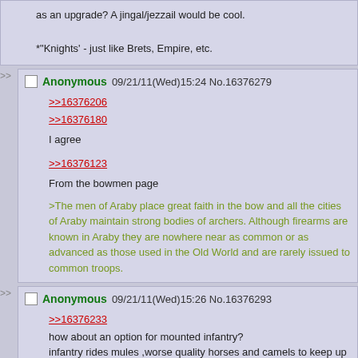as an upgrade? A jingal/jezzail would be cool.
*'Knights' - just like Brets, Empire, etc.
Anonymous 09/21/11(Wed)15:24 No.16376279
>>16376206
>>16376180
I agree
>>16376123
From the bowmen page
>The men of Araby place great faith in the bow and all the cities of Araby maintain strong bodies of archers. Although firearms are known in Araby they are nowhere near as common or as advanced as those used in the Old World and are rarely issued to common troops.
Anonymous 09/21/11(Wed)15:26 No.16376293
>>16376233
how about an option for mounted infantry?
infantry rides mules ,worse quality horses and camels to keep up with the highly mobile cavalery and dismount before battle. in the rules it could works as an extra move before the begining of battle with higher move